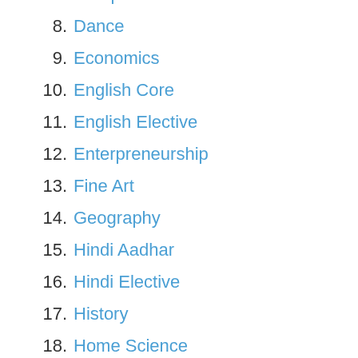7. Computer Science
8. Dance
9. Economics
10. English Core
11. English Elective
12. Enterpreneurship
13. Fine Art
14. Geography
15. Hindi Aadhar
16. Hindi Elective
17. History
18. Home Science